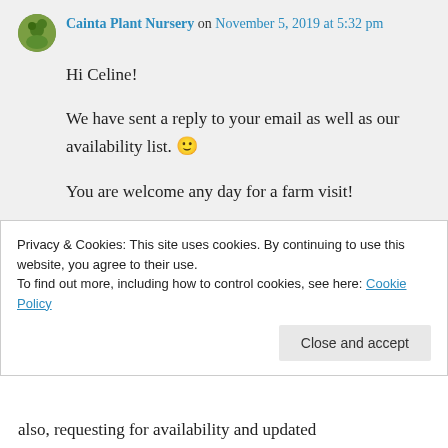Cainta Plant Nursery on November 5, 2019 at 5:32 pm
Hi Celine!
We have sent a reply to your email as well as our availability list. 🙂
You are welcome any day for a farm visit!
↪ Reply
kris on January 8, 2020 at 7:46 am
Privacy & Cookies: This site uses cookies. By continuing to use this website, you agree to their use.
To find out more, including how to control cookies, see here: Cookie Policy
Close and accept
also, requesting for availability and updated